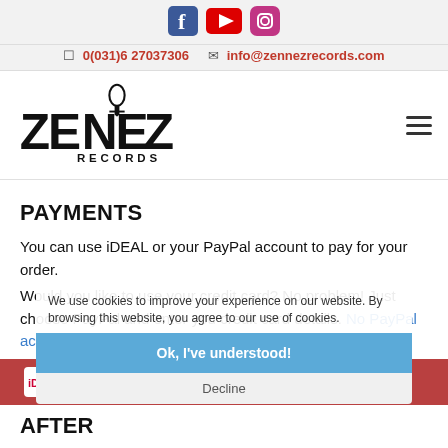[Figure (logo): Social media icons: Facebook (blue), YouTube (red), Instagram (pink/purple)]
0(031)6 27037306   info@zennezrecords.com
[Figure (logo): Zenez Records logo in black with microphone graphic]
PAYMENTS
You can use iDEAL or your PayPal account to pay for your order.
Would you like to use your credit card? No problem! Just choose PayPal and enter you credit card details. No PayPal account needed!
[Figure (logo): Payment logos: iDEAL, VISA, MasterCard, American Express, PayPal on red background]
We use cookies to improve your experience on our website. By browsing this website, you agree to our use of cookies.
Ok, I've understood!
Decline
AFTER